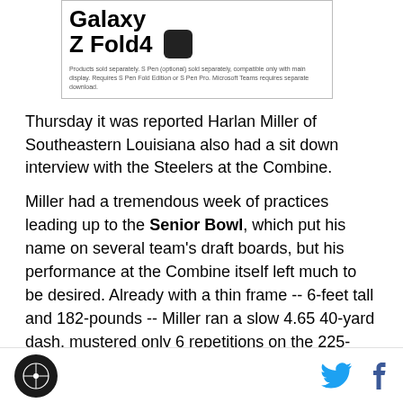[Figure (advertisement): Samsung Galaxy Z Fold4 advertisement with device image and disclaimer text]
Thursday it was reported Harlan Miller of Southeastern Louisiana also had a sit down interview with the Steelers at the Combine.
Miller had a tremendous week of practices leading up to the Senior Bowl, which put his name on several team's draft boards, but his performance at the Combine itself left much to be desired. Already with a thin frame -- 6-feet tall and 182-pounds -- Miller ran a slow 4.65 40-yard dash, mustered only 6 repetitions on the 225-pound bench press test and 7.44 second three